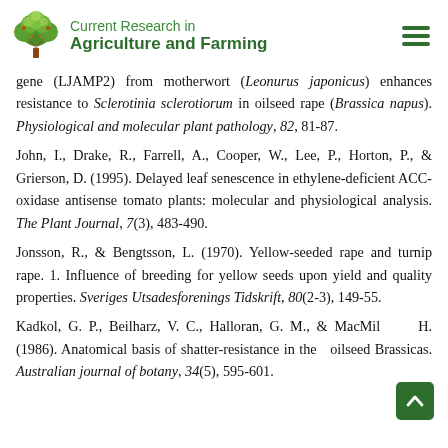Current Research in Agriculture and Farming
gene (LJAMP2) from motherwort (Leonurus japonicus) enhances resistance to Sclerotinia sclerotiorum in oilseed rape (Brassica napus). Physiological and molecular plant pathology, 82, 81-87.
John, I., Drake, R., Farrell, A., Cooper, W., Lee, P., Horton, P., & Grierson, D. (1995). Delayed leaf senescence in ethylene-deficient ACC-oxidase antisense tomato plants: molecular and physiological analysis. The Plant Journal, 7(3), 483-490.
Jonsson, R., & Bengtsson, L. (1970). Yellow-seeded rape and turnip rape. 1. Influence of breeding for yellow seeds upon yield and quality properties. Sveriges Utsadesforenings Tidskrift, 80(2-3), 149-55.
Kadkol, G. P., Beilharz, V. C., Halloran, G. M., & MacMillan, H. (1986). Anatomical basis of shatter-resistance in the oilseed Brassicas. Australian journal of botany, 34(5), 595-601.